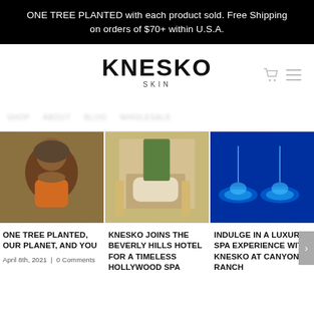ONE TREE PLANTED with each product sold. Free Shipping on orders of $70+ within U.S.A.
KNESKO SKIN
[Figure (logo): Knesko Skin brand logo with bold KNESKO text and SKIN subtitle]
[Figure (photo): Woman smiling outdoors in soil/garden, wearing headwrap and orange top]
[Figure (photo): Luxury hotel lobby interior with sofa, palm plant, and gold mirror decor]
[Figure (photo): Spa environment with illuminated blue lighting on treatment beds/pods]
ONE TREE PLANTED, OUR PLANET, AND YOU
April 8th, 2021  |  0 Comments
KNESKO JOINS THE BEVERLY HILLS HOTEL FOR A TIMELESS HOLLYWOOD SPA
INDULGE IN A LUXURY SPA EXPERIENCE WITH KNESKO AT CANYON RANCH